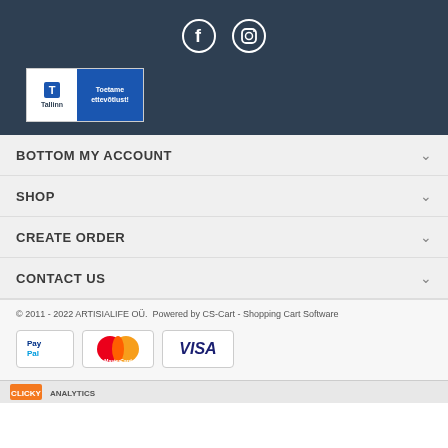[Figure (logo): Facebook and Instagram social media icons (circle outlines with f and camera symbols)]
[Figure (logo): Tallinn city logo badge: white left side with blue city icon and 'Tallinn' text, blue right side with 'Toetame ettevõtlust!' text]
BOTTOM MY ACCOUNT
SHOP
CREATE ORDER
CONTACT US
© 2011 - 2022 ARTISIALIFE OÜ.  Powered by CS-Cart - Shopping Cart Software
[Figure (logo): PayPal, MasterCard, and VISA payment method logos]
[Figure (logo): Clicky Analytics logo bar]